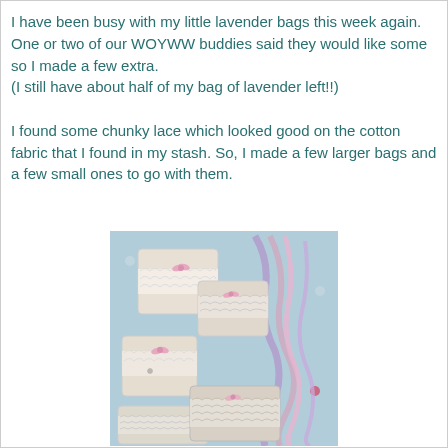I have been busy with my little lavender bags this week again.
One or two of our WOYWW buddies said they would like some so I made a few extra.
(I still have about half of my bag of lavender left!!)

I found some chunky lace which looked good on the cotton fabric that I found in my stash. So, I made a few larger bags and a few small ones to go with them.
[Figure (photo): Photo of multiple small lavender sachets/bags made with white lace fabric and pink ribbons, arranged on a blue polka-dot surface alongside purple and pink ribbons.]